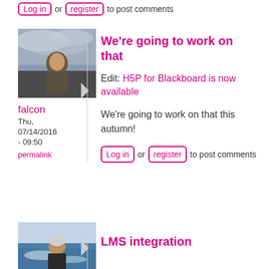Log in or register to post comments
[Figure (photo): Avatar photo of user falcon — man in outdoor setting with cloudy sky]
falcon
Thu, 07/14/2016 - 09:50
permalink
We're going to work on that
Edit: H5P for Blackboard is now available
We're going to work on that this autumn!
Log in or register to post comments
[Figure (photo): Avatar photo of user kylecage — person near water/ocean]
kylecage
LMS integration